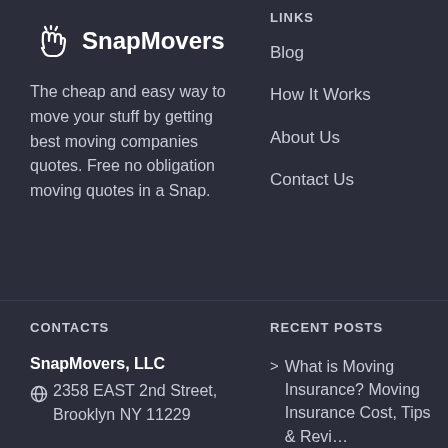[Figure (logo): SnapMovers logo with hand/snap icon and bold text]
The cheap and easy way to move your stuff by getting best moving companies quotes. Free no obligation moving quotes in a Snap.
LINKS
Blog
How It Works
About Us
Contact Us
CONTACTS
RECENT POSTS
SnapMovers, LLC
2358 EAST 2nd Street, Brooklyn NY 11229
> What is Moving Insurance? Moving Insurance Cost, Tips & Revi…